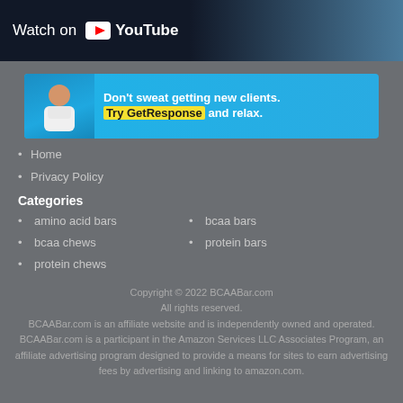[Figure (screenshot): YouTube watch banner with dark background and gym scene on the right showing 'Watch on YouTube' text with YouTube logo]
[Figure (infographic): GetResponse advertisement banner in blue with a smiling man. Text reads: Don't sweat getting new clients. Try GetResponse and relax.]
Home
Privacy Policy
Categories
amino acid bars
bcaa chews
protein chews
bcaa bars
protein bars
Copyright © 2022 BCAABar.com
All rights reserved.
BCAABar.com is an affiliate website and is independently owned and operated.
BCAABar.com is a participant in the Amazon Services LLC Associates Program, an affiliate advertising program designed to provide a means for sites to earn advertising fees by advertising and linking to amazon.com.